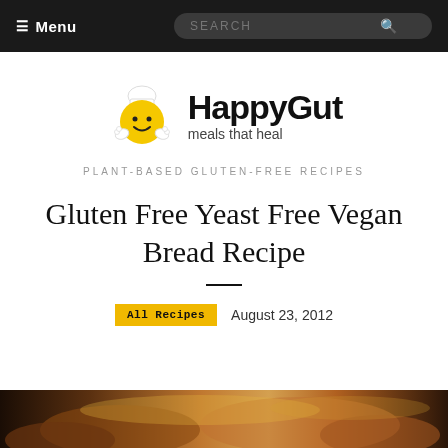≡ Menu | SEARCH
[Figure (logo): HappyGut meals that heal logo with yellow smiley face character wearing chef hat]
PLANT-BASED GLUTEN-FREE RECIPES
Gluten Free Yeast Free Vegan Bread Recipe
All Recipes   August 23, 2012
[Figure (photo): Photo of bread at the bottom of the page]